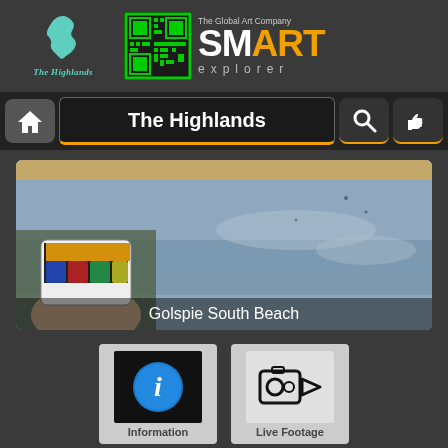[Figure (logo): The Highlands logo with teal Scotland map outline and italic script text]
[Figure (other): QR code in green border]
[Figure (logo): SMARTExplorer - The Global Art Company brand logo with orange ART text]
[Figure (screenshot): Navigation bar with home icon, The Highlands title, search and like icons on dark background]
[Figure (photo): Golspie South Beach photo with a hand holding a smartphone in foreground, caption reads Golspie South Beach]
[Figure (infographic): Information button (blue circle with i) labeled Information]
[Figure (infographic): Video camera icon labeled Live Footage]
Share your Experiences